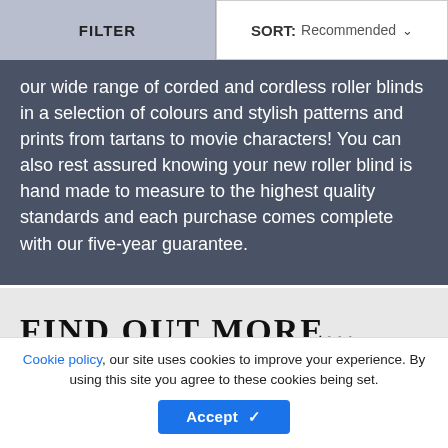[Figure (screenshot): Filter and Sort bar with two buttons: FILTER (grey background) and SORT: Recommended with dropdown chevron (white background)]
our wide range of corded and cordless roller blinds in a selection of colours and stylish patterns and prints from tartans to movie characters! You can also rest assured knowing your new roller blind is hand made to measure to the highest quality standards and each purchase comes complete with our five-year guarantee.
FIND OUT MORE...
Cookie policy, our site uses cookies to improve your experience. By using this site you agree to these cookies being set.